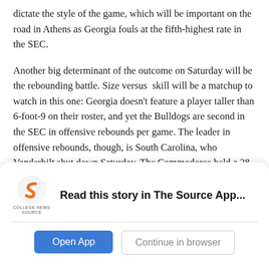dictate the style of the game, which will be important on the road in Athens as Georgia fouls at the fifth-highest rate in the SEC.
Another big determinant of the outcome on Saturday will be the rebounding battle. Size versus skill will be a matchup to watch in this one: Georgia doesn’t feature a player taller than 6-foot-9 on their roster, and yet the Bulldogs are second in the SEC in offensive rebounds per game. The leader in offensive rebounds, though, is South Carolina, who Vanderbilt shut down Saturday. The Commodores held a 38-31 advantage on the boards against South Carolina, including 12 offensive rebounds. That was a big factor in
[Figure (logo): College News Source logo with orange stylized S icon and text COLLEGE NEWS SOURCE below]
Read this story in The Source App...
Open App
Continue in browser